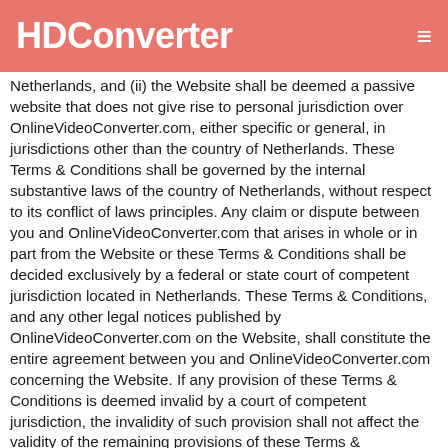HDConverter
Netherlands, and (ii) the Website shall be deemed a passive website that does not give rise to personal jurisdiction over OnlineVideoConverter.com, either specific or general, in jurisdictions other than the country of Netherlands. These Terms & Conditions shall be governed by the internal substantive laws of the country of Netherlands, without respect to its conflict of laws principles. Any claim or dispute between you and OnlineVideoConverter.com that arises in whole or in part from the Website or these Terms & Conditions shall be decided exclusively by a federal or state court of competent jurisdiction located in Netherlands. These Terms & Conditions, and any other legal notices published by OnlineVideoConverter.com on the Website, shall constitute the entire agreement between you and OnlineVideoConverter.com concerning the Website. If any provision of these Terms & Conditions is deemed invalid by a court of competent jurisdiction, the invalidity of such provision shall not affect the validity of the remaining provisions of these Terms & Conditions, which shall remain in full force and effect. No waiver of any term of this these Terms & Conditions shall be deemed a further or continuing waiver of such term or any other term, and a party's failure to assert any right or provision under these Terms of Use shall not constitute a waiver of such right or provision.